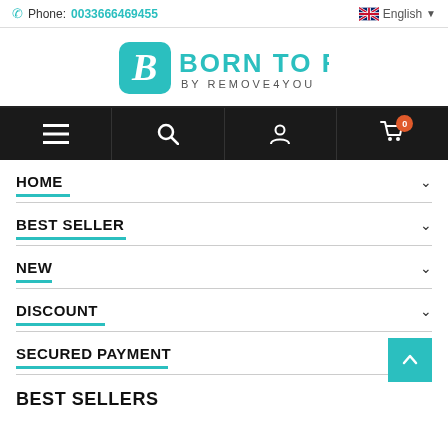Phone: 0033666469455 | English
[Figure (logo): Born To Fly by Remove4You logo with teal B icon]
[Figure (screenshot): Navigation bar with hamburger menu, search, account, and cart (0) icons on dark background]
HOME
BEST SELLER
NEW
DISCOUNT
SECURED PAYMENT
BEST SELLERS